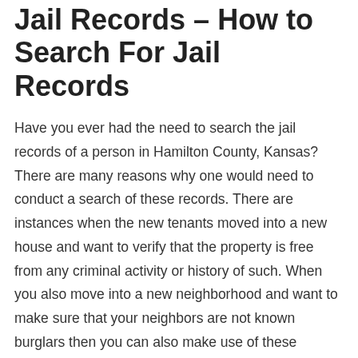Jail Records – How to Search For Jail Records
Have you ever had the need to search the jail records of a person in Hamilton County, Kansas? There are many reasons why one would need to conduct a search of these records. There are instances when the new tenants moved into a new house and want to verify that the property is free from any criminal activity or history of such. When you also move into a new neighborhood and want to make sure that your neighbors are not known burglars then you can also make use of these records.
In cases like this it becomes quite easy to conduct